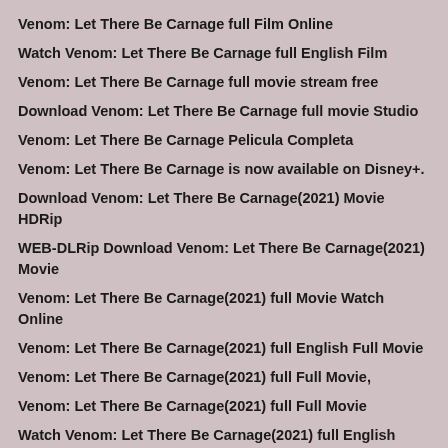Venom: Let There Be Carnage full Film Online
Watch Venom: Let There Be Carnage full English Film
Venom: Let There Be Carnage full movie stream free
Download Venom: Let There Be Carnage full movie Studio
Venom: Let There Be Carnage Pelicula Completa
Venom: Let There Be Carnage is now available on Disney+.
Download Venom: Let There Be Carnage(2021) Movie HDRip
WEB-DLRip Download Venom: Let There Be Carnage(2021) Movie
Venom: Let There Be Carnage(2021) full Movie Watch Online
Venom: Let There Be Carnage(2021) full English Full Movie
Venom: Let There Be Carnage(2021) full Full Movie,
Venom: Let There Be Carnage(2021) full Full Movie
Watch Venom: Let There Be Carnage(2021) full English FullMovie Online
Venom: Let There Be Carnage(2021) full Film Online
Watch Venom: Let There Be Carnage(2021) full English Film